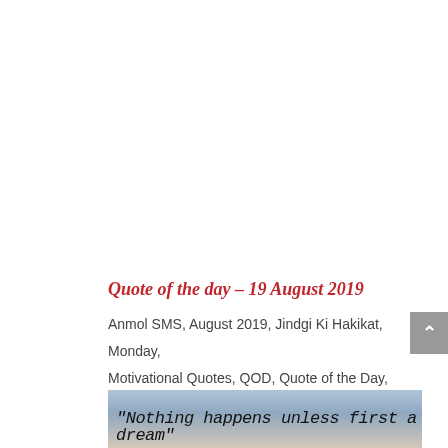Quote of the day – 19 August 2019
Anmol SMS, August 2019, Jindgi Ki Hakikat, Monday, Motivational Quotes, QOD, Quote of the Day, Quotes, Whats App SMS
[Figure (photo): Partial image at bottom showing text 'Nothing happens unless first a dream' on a sky/landscape background]